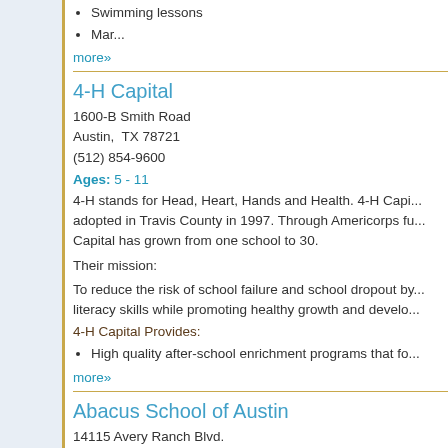Swimming lessons
Mar...
more»
4-H Capital
1600-B Smith Road
Austin,  TX 78721
(512) 854-9600
Ages: 5 - 11
4-H stands for Head, Heart, Hands and Health. 4-H Capi... adopted in Travis County in 1997. Through Americorps fu... Capital has grown from one school to 30.
Their mission:
To reduce the risk of school failure and school dropout by... literacy skills while promoting healthy growth and develo...
4-H Capital Provides:
High quality after-school enrichment programs that fo...
more»
Abacus School of Austin
14115 Avery Ranch Blvd.
Austin,  TX 78717
(512) 381-2200
Ages: 0 and up